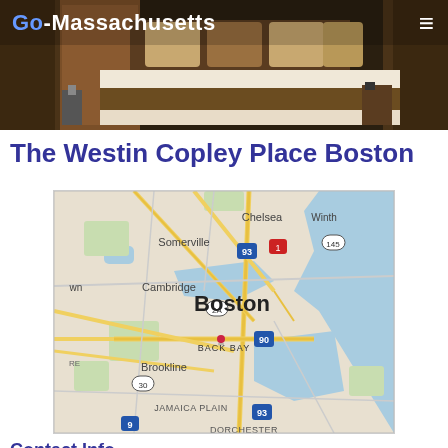[Figure (photo): Hotel bedroom photo showing a large bed with brown/gold pillows and dark curtains, used as a website header banner]
Go-Massachusetts
The Westin Copley Place Boston
[Figure (map): Google Maps view of Boston area showing neighborhoods including Somerville, Chelsea, Cambridge, Back Bay, Brookline, Jamaica Plain, Dorchester, and Winthrop, with major roads and waterways]
Contact Info